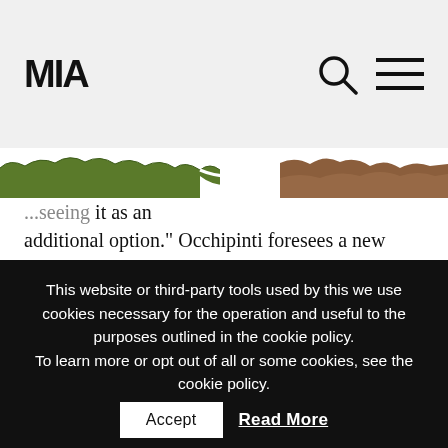MIA
[Figure (illustration): Torn paper collage strip with green moss and brown earth textures overlapping a white background]
...seeing it as an additional option." Occhipinti foresees a new modus operandi that will be an improvement on the previous glut of titles and lack of time to see them. When the theatres reopen, "the chronology of the media and
This website or third-party tools used by this we use cookies necessary for the operation and useful to the purposes outlined in the cookie policy.
To learn more or opt out of all or some cookies, see the cookie policy.

By closing this banner you consent to the use of cookies.
Accept
Read More